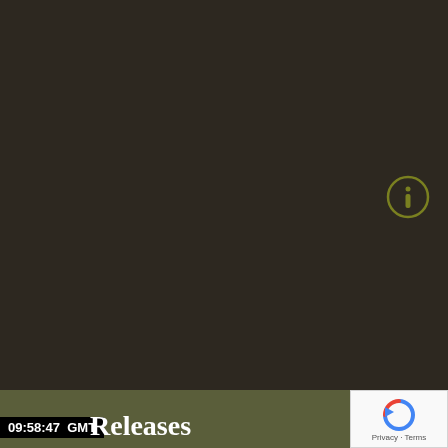[Figure (screenshot): Dark olive/brown background screenshot of a mapping or government web application. An info icon (circled letter i) is visible in the upper right area against the dark background.]
09:58:47  GMT
Releases
[Figure (logo): Google reCAPTCHA logo with circular arrow icon. Below it reads 'Privacy · Terms']